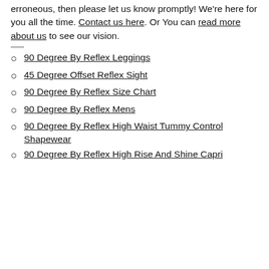erroneous, then please let us know promptly! We're here for you all the time. Contact us here. Or You can read more about us to see our vision.
90 Degree By Reflex Leggings
45 Degree Offset Reflex Sight
90 Degree By Reflex Size Chart
90 Degree By Reflex Mens
90 Degree By Reflex High Waist Tummy Control Shapewear
90 Degree By Reflex High Rise And Shine Capri